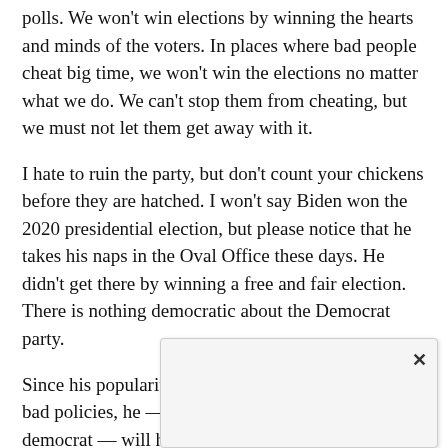polls. We won't win elections by winning the hearts and minds of the voters. In places where bad people cheat big time, we won't win the elections no matter what we do. We can't stop them from cheating, but we must not let them get away with it.
I hate to ruin the party, but don't count your chickens before they are hatched. I won't say Biden won the 2020 presidential election, but please notice that he takes his naps in the Oval Office these days. He didn't get there by winning a free and fair election. There is nothing democratic about the Democrat party.
Since his popularity is sinking, primarily because of bad policies, he — or some other very left-wing democrat — will have to cheat big time to get four more years in the White House.
[Figure (other): A modal dialog box with a close button (×) in the upper right corner, appearing over the page content.]